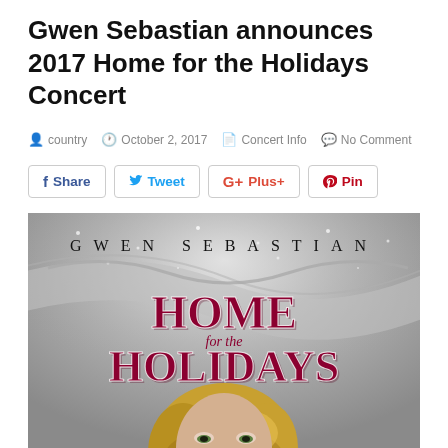Gwen Sebastian announces 2017 Home for the Holidays Concert
country   October 2, 2017   Concert Info   No Comment
[Figure (photo): Promotional concert poster for Gwen Sebastian's 2017 Home for the Holidays Concert, featuring her name in spaced serif letters at top, decorative holiday title text 'Home for the Holidays' in large ornate crimson/maroon lettering, and a photo of a blonde woman (Gwen Sebastian) looking upward against a silver/grey snowy background.]